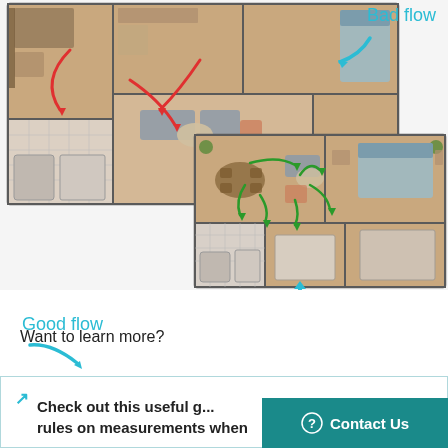[Figure (illustration): Floor plan infographic showing two apartment layouts side-by-side. The top-left layout is labeled 'Bad flow' with red curved arrows indicating poor traffic flow through rooms. The bottom-right layout is labeled 'Good flow' with green curved arrows showing good traffic flow through rooms including living, dining, bedroom areas.]
Bad flow
Good flow
Want to learn more?
Check out this useful g... rules on measurements when
Contact Us